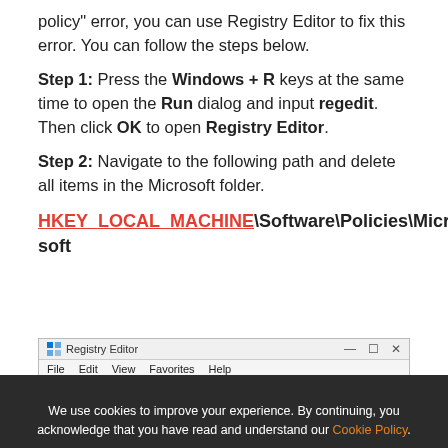policy" error, you can use Registry Editor to fix this error. You can follow the steps below.
Step 1: Press the Windows + R keys at the same time to open the Run dialog and input regedit. Then click OK to open Registry Editor.
Step 2: Navigate to the following path and delete all items in the Microsoft folder.
HKEY_LOCAL_MACHINE\Software\Policies\Microsoft
[Figure (screenshot): Registry Editor window showing title bar with File, Edit, View, Favorites, Help menu items]
We use cookies to improve your experience. By continuing, you acknowledge that you have read and understand our Cookie Policy.
Accept